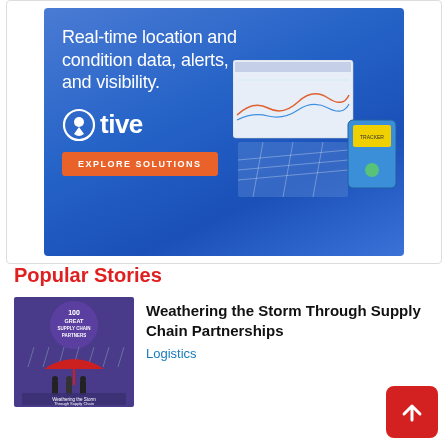[Figure (infographic): Tive advertisement banner with blue gradient background. Text reads 'Real-time location and condition data, alerts, and visibility.' with the Tive logo (circular pin icon + 'tive' wordmark), an orange 'EXPLORE SOLUTIONS' button, and a product mockup showing a dashboard screenshot and a blue hardware device tracker on a stylized map grid.]
Popular Stories
[Figure (photo): Book cover thumbnail for '100 Great Supply Chain Partners - Weathering the Storm Through Supply Chain Partnerships' showing people under a red umbrella in rain.]
Weathering the Storm Through Supply Chain Partnerships
Logistics